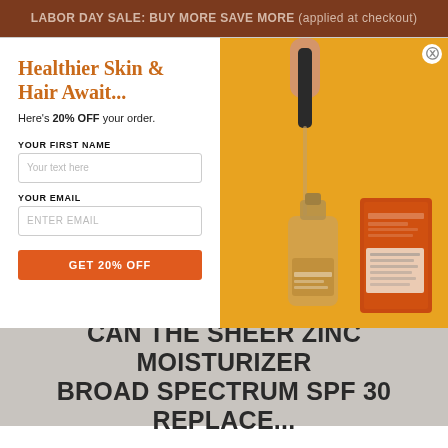LABOR DAY SALE: BUY MORE SAVE MORE (applied at checkout)
Healthier Skin & Hair Await...
Here's 20% OFF your order.
YOUR FIRST NAME
Your text here
YOUR EMAIL
ENTER EMAIL
GET 20% OFF
[Figure (photo): Hand holding a dropper over a glass serum bottle and an orange hair solutions product box on a yellow background]
CAN THE SHEER ZINC MOISTURIZER BROAD SPECTRUM SPF 30 REPLACE...